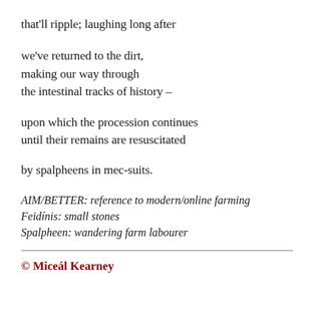that'll ripple; laughing long after
we've returned to the dirt,
making our way through
the intestinal tracks of history –
upon which the procession continues
until their remains are resuscitated
by spalpheens in mec-suits.
AIM/BETTER: reference to modern/online farming
Feidínis: small stones
Spalpheen: wandering farm labourer
© Miceál Kearney